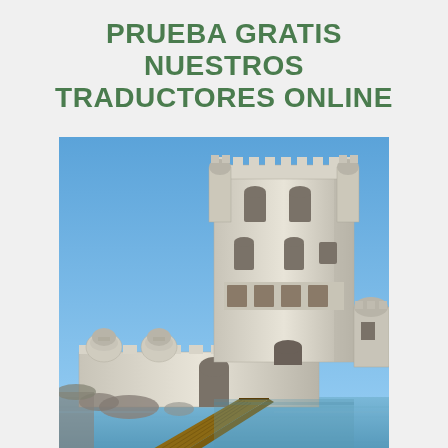PRUEBA GRATIS NUESTROS TRADUCTORES ONLINE
[Figure (photo): Photograph of the Tower of Belém (Torre de Belém), a historic fortified tower located in Lisbon, Portugal, surrounded by water with a wooden walkway/bridge in the foreground and a clear blue sky in the background.]